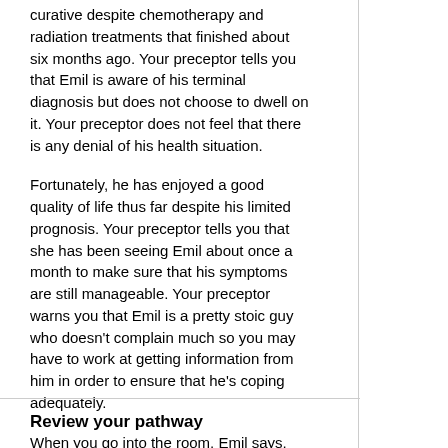curative despite chemotherapy and radiation treatments that finished about six months ago. Your preceptor tells you that Emil is aware of his terminal diagnosis but does not choose to dwell on it. Your preceptor does not feel that there is any denial of his health situation.
Fortunately, he has enjoyed a good quality of life thus far despite his limited prognosis. Your preceptor tells you that she has been seeing Emil about once a month to make sure that his symptoms are still manageable. Your preceptor warns you that Emil is a pretty stoic guy who doesn't complain much so you may have to work at getting information from him in order to ensure that he's coping adequately.
When you go into the room, Emil says, "My back seems to be hurting a lot in the past 2 weeks."
Back to 'Emil'
History of Present Illness
Review your pathway